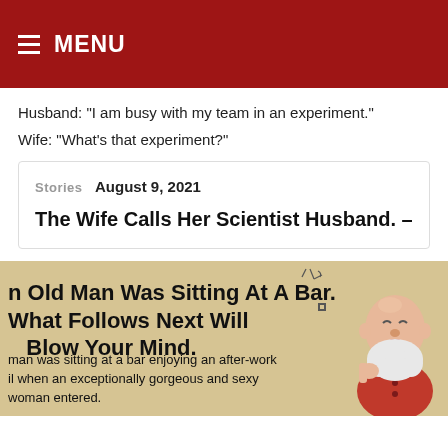MENU
Husband: "I am busy with my team in an experiment."
Wife: "What's that experiment?"
Stories  August 9, 2021
The Wife Calls Her Scientist Husband. –
[Figure (illustration): Beige banner with bold text: 'n Old Man Was Sitting At A Bar. What Follows Next Will Blow Your Mind.' with body text below and a cartoon illustration of a laughing old bald man with white beard wearing a red vest on the right side.]